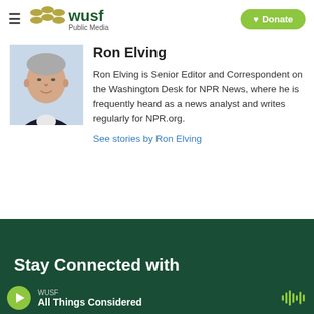WUSF Public Media — Donate
Ron Elving
[Figure (photo): Headshot photo of Ron Elving, an older man with gray hair wearing a dark blazer]
Ron Elving is Senior Editor and Correspondent on the Washington Desk for NPR News, where he is frequently heard as a news analyst and writes regularly for NPR.org.
See stories by Ron Elving
Stay Connected with
WUSF — All Things Considered